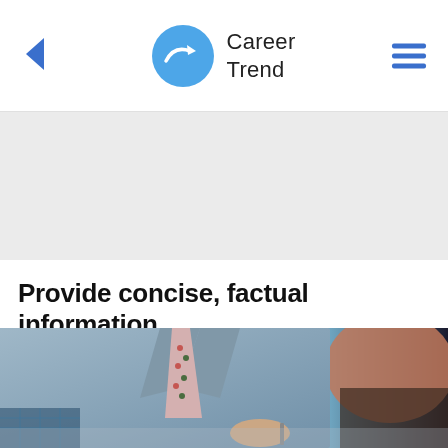Career Trend
[Figure (other): Gray advertisement banner placeholder]
Provide concise, factual information
[Figure (photo): Business professional in gray suit with patterned tie, writing or signing a document, with another person partially visible in foreground (blurred)]